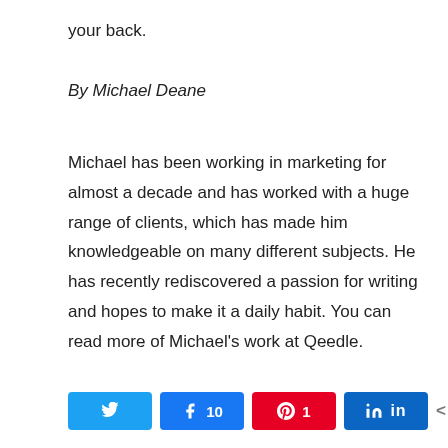your back.
By Michael Deane
Michael has been working in marketing for almost a decade and has worked with a huge range of clients, which has made him knowledgeable on many different subjects. He has recently rediscovered a passion for writing and hopes to make it a daily habit. You can read more of Michael’s work at Qeedle.
[Figure (infographic): Social share buttons: Twitter, Facebook (10 shares), Pinterest (1 share), LinkedIn, and a share count badge showing 11 SHARES]